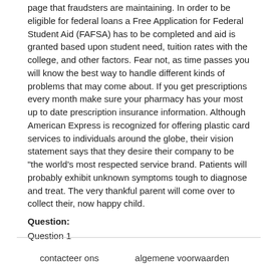page that fraudsters are maintaining. In order to be eligible for federal loans a Free Application for Federal Student Aid (FAFSA) has to be completed and aid is granted based upon student need, tuition rates with the college, and other factors. Fear not, as time passes you will know the best way to handle different kinds of problems that may come about. If you get prescriptions every month make sure your pharmacy has your most up to date prescription insurance information. Although American Express is recognized for offering plastic card services to individuals around the globe, their vision statement says that they desire their company to be "the world's most respected service brand. Patients will probably exhibit unknown symptoms tough to diagnose and treat. The very thankful parent will come over to collect their, now happy child.
Question:
Question 1
contacteer ons    algemene voorwaarden